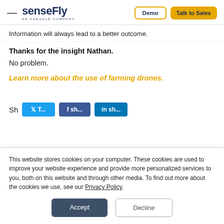senseFly — AN AGEAGLE COMPANY | Demo | Talk to Sales
Information will always lead to a better outcome.
Thanks for the insight Nathan.
No problem.
Learn more about the use of farming drones.
[Figure (screenshot): Social sharing buttons row: Twitter, Facebook, LinkedIn]
This website stores cookies on your computer. These cookies are used to improve your website experience and provide more personalized services to you, both on this website and through other media. To find out more about the cookies we use, see our Privacy Policy.
Accept | Decline